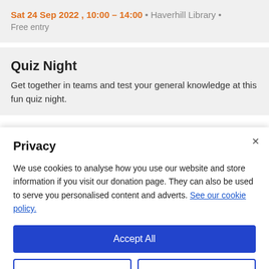Sat 24 Sep 2022 , 10:00 – 14:00 • Haverhill Library •
Free entry
Quiz Night
Get together in teams and test your general knowledge at this fun quiz night.
Privacy
We use cookies to analyse how you use our website and store information if you visit our donation page. They can also be used to serve you personalised content and adverts. See our cookie policy.
Accept All
Customise
Reject All